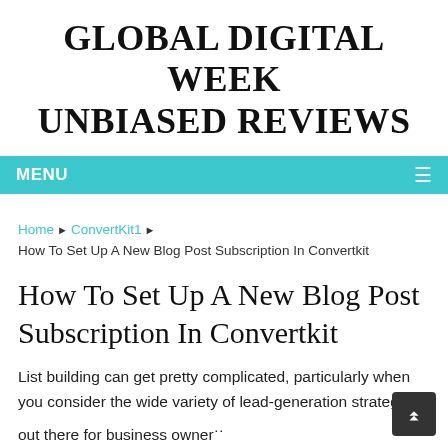GLOBAL DIGITAL WEEK UNBIASED REVIEWS
MENU
Home ▶ ConvertKit1 ▶ How To Set Up A New Blog Post Subscription In Convertkit
How To Set Up A New Blog Post Subscription In Convertkit
List building can get pretty complicated, particularly when you consider the wide variety of lead-generation strategies out there for business owners